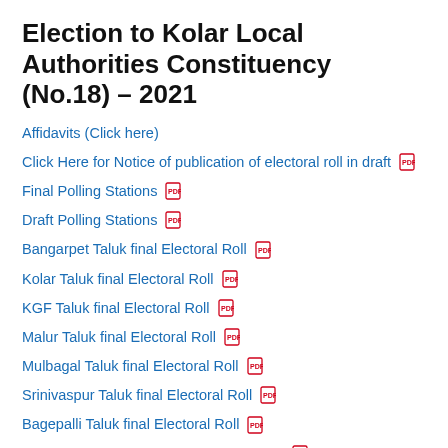Election to Kolar Local Authorities Constituency (No.18) – 2021
Affidavits (Click here)
Click Here for Notice of publication of electoral roll in draft [PDF]
Final Polling Stations [PDF]
Draft Polling Stations [PDF]
Bangarpet Taluk final Electoral Roll [PDF]
Kolar Taluk final Electoral Roll [PDF]
KGF Taluk final Electoral Roll [PDF]
Malur Taluk final Electoral Roll [PDF]
Mulbagal Taluk final Electoral Roll [PDF]
Srinivaspur Taluk final Electoral Roll [PDF]
Bagepalli Taluk final Electoral Roll [PDF]
Chikkaballapura Taluk final Electoral Roll [PDF]